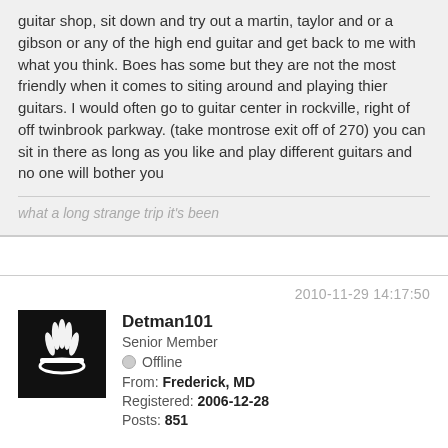guitar shop, sit down and try out a martin, taylor and or a gibson or any of the high end guitar and get back to me with what you think. Boes has some but they are not the most friendly when it comes to siting around and playing thier guitars. I would often go to guitar center in rockville, right of off twinbrook parkway. (take montrose exit off of 270) you can sit in there as long as you like and play different guitars and no one will bother you
what a long strange trip it's been
2010-11-29 14:17:50
[Figure (illustration): Forum user avatar: black background with white flame/crown logo design]
Detman101
Senior Member
Offline
From: Frederick, MD
Registered: 2006-12-28
Posts: 851
RE: ACOUSTIC TO CARRY AROUND